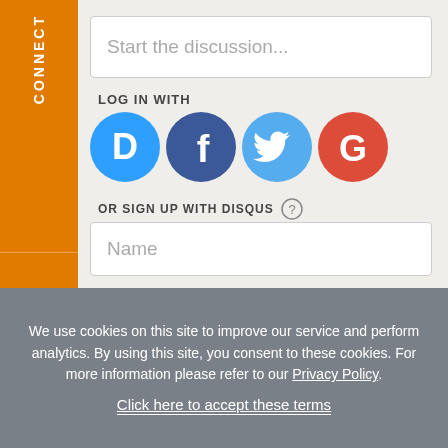[Figure (screenshot): Orange sidebar with CONNECT label (vertical text) and email icon below]
Start the discussion...
LOG IN WITH
[Figure (infographic): Four social login icons: Disqus (blue D), Facebook (dark blue f), Twitter (light blue bird), Google (red G)]
OR SIGN UP WITH DISQUS (?)
Name
Be the first to comment.
We use cookies on this site to improve our service and perform analytics. By using this site, you consent to these cookies. For more information please refer to our Privacy Policy.
Click here to accept these terms